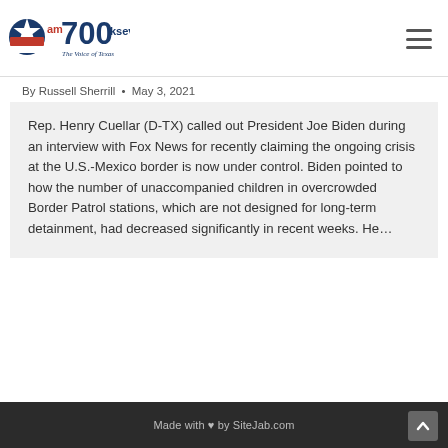[Figure (logo): AM 700 KSEV The Voice of Texas radio station logo with Texas flag star graphic]
By Russell Sherrill • May 3, 2021
Rep. Henry Cuellar (D-TX) called out President Joe Biden during an interview with Fox News for recently claiming the ongoing crisis at the U.S.-Mexico border is now under control. Biden pointed to how the number of unaccompanied children in overcrowded Border Patrol stations, which are not designed for long-term detainment, had decreased significantly in recent weeks. He…
Made with ♥ by SiteJab.com